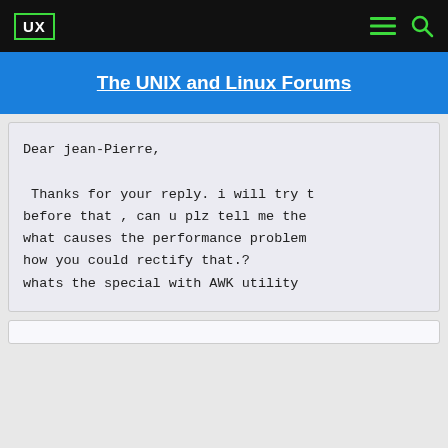UX
The UNIX and Linux Forums
Dear jean-Pierre,

 Thanks for your reply. i will try t
before that , can u plz tell me the
what causes the performance problem
how you could rectify that.?
whats the special with AWK utility